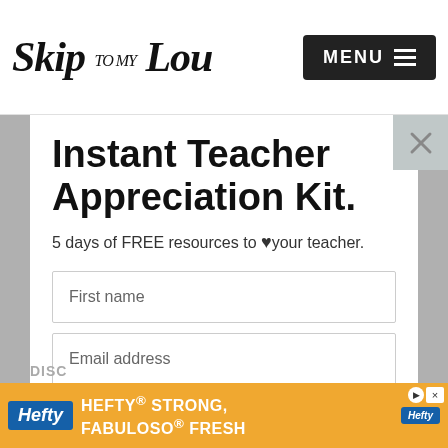Skip to my Lou | MENU
Instant Teacher Appreciation Kit.
5 days of FREE resources to ♥your teacher.
First name
Email address
YES! I like easy.
DISC
[Figure (screenshot): Hefty Strong, Fabuloso Fresh advertisement banner at bottom of page]